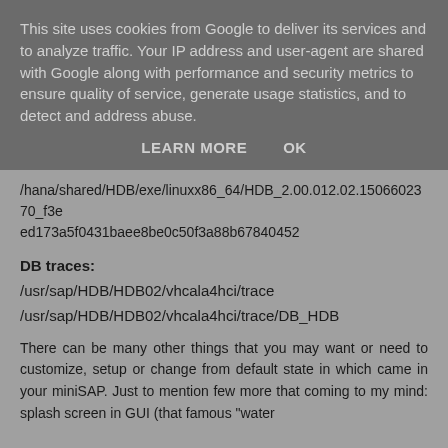This site uses cookies from Google to deliver its services and to analyze traffic. Your IP address and user-agent are shared with Google along with performance and security metrics to ensure quality of service, generate usage statistics, and to detect and address abuse.
LEARN MORE   OK
/hana/shared/HDB/exe/linuxx86_64/HDB_2.00.012.02.1506602370_f3eed173a5f0431baee8be0c50f3a88b67840452
DB traces:
/usr/sap/HDB/HDB02/vhcala4hci/trace
/usr/sap/HDB/HDB02/vhcala4hci/trace/DB_HDB
There can be many other things that you may want or need to customize, setup or change from default state in which came in your miniSAP. Just to mention few more that coming to my mind: splash screen in GUI (that famous "water